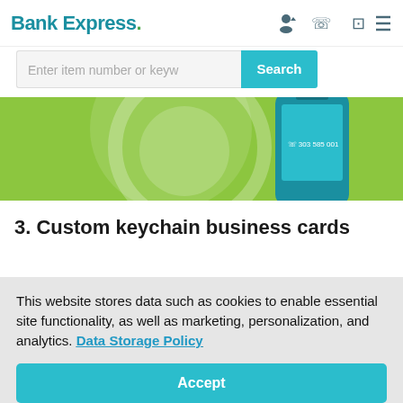Bank Express.
[Figure (screenshot): Search bar with placeholder text 'Enter item number or keyw' and a teal 'Search' button]
[Figure (illustration): Green hero banner with circular white graphic and teal phone device showing phone number]
3. Custom keychain business cards
This website stores data such as cookies to enable essential site functionality, as well as marketing, personalization, and analytics. Data Storage Policy
Accept
Deny